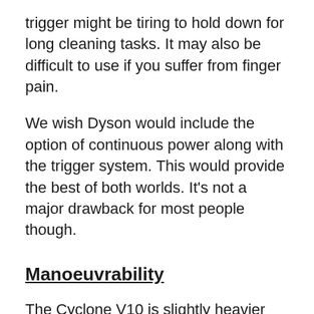trigger might be tiring to hold down for long cleaning tasks. It may also be difficult to use if you suffer from finger pain.
We wish Dyson would include the option of continuous power along with the trigger system. This would provide the best of both worlds. It’s not a major drawback for most people though.
Manoeuvrability
The Cyclone V10 is slightly heavier than the V8, at 2.68kg compared to 2.61kg. This difference is almost impossible to notice, however, and both vacuums feel lightweight and balanced.